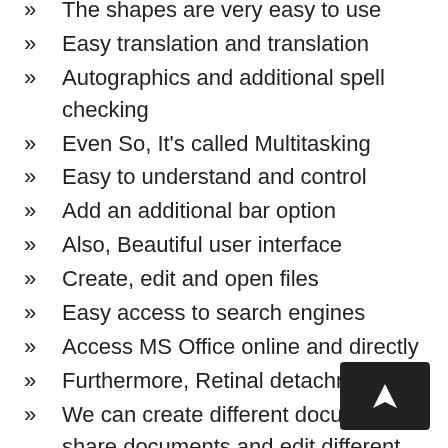The shapes are very easy to use
Easy translation and translation
Autographics and additional spell checking
Even So, It's called Multitasking
Easy to understand and control
Add an additional bar option
Also, Beautiful user interface
Create, edit and open files
Easy access to search engines
Access MS Office online and directly
Furthermore, Retinal detachment
We can create different documents, share documents and edit different changes. This program uses different styles of design and drawing.
Presentation presentations, as well as video presentations, can be done using MS PowerPoint.